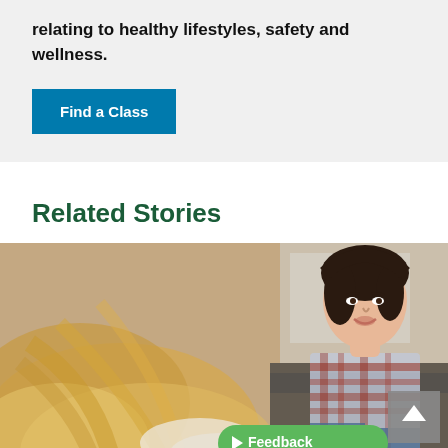relating to healthy lifestyles, safety and wellness.
[Figure (other): Blue 'Find a Class' button]
Related Stories
[Figure (photo): A young girl in a plaid shirt smiling at an adult sitting across from her, blurred foreground showing the back of the adult's blonde hair.]